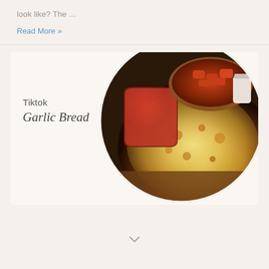look like? The ...
Read More »
[Figure (photo): Circular cropped photo of a cheesy garlic bread pizza with sauce cups and wings visible in background. Card overlay shows text 'Tiktok Garlic Bread'.]
Tiktok
Garlic Bread